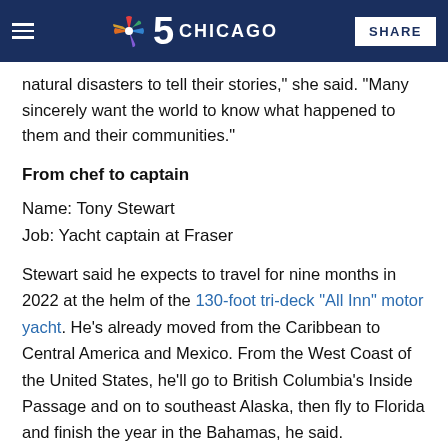NBC 5 Chicago | SHARE
natural disasters to tell their stories," she said. "Many sincerely want the world to know what happened to them and their communities."
From chef to captain
Name:  Tony Stewart
Job:  Yacht captain at Fraser
Stewart said he expects to travel for nine months in 2022 at the helm of the 130-foot tri-deck "All Inn" motor yacht. He's already moved from the Caribbean to Central America and Mexico. From the West Coast of the United States, he'll go to British Columbia's Inside Passage and on to southeast Alaska, then fly to Florida and finish the year in the Bahamas, he said.